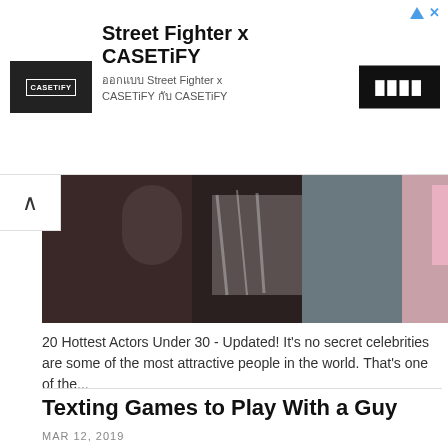[Figure (infographic): CASETiFY advertisement banner for Street Fighter x CASETiFY collaboration. Shows CASETiFY logo on black background on left, large title text 'Street Fighter x CASETiFY', subtitle text in Thai and English, and a dark button on the right.]
[Figure (photo): Partial photo showing people, cropped at bottom of ad area, dark tones with zebra print fabric visible.]
20 Hottest Actors Under 30 - Updated! It's no secret celebrities are some of the most attractive people in the world. That's one of the...
Texting Games to Play With a Guy
MAR 12, 2019
[Figure (photo): Two women taking a selfie outdoors. One woman wears sunglasses and holds a phone, both lean close together. Background shows colorful banners and urban street setting.]